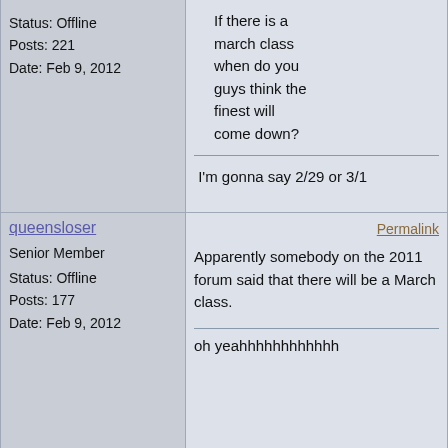Status: Offline
Posts: 221
Date: Feb 9, 2012
If there is a march class when do you guys think the finest will come down?

I'm gonna say 2/29 or 3/1
queensloser
Senior Member
Status: Offline
Posts: 177
Date: Feb 9, 2012
Permalink

Apparently somebody on the 2011 forum said that there will be a March class.

oh yeahhhhhhhhhhhh